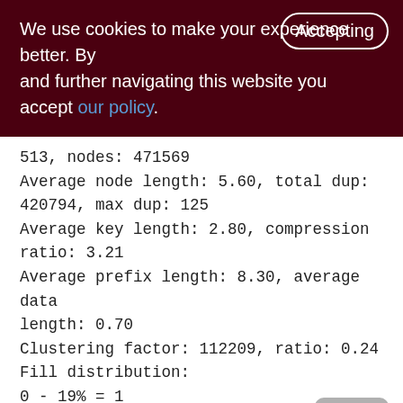We use cookies to make your experience better. By accepting and further navigating this website you accept our policy.
513, nodes: 471569
Average node length: 5.60, total dup: 420794, max dup: 125
Average key length: 2.80, compression ratio: 3.21
Average prefix length: 8.30, average data length: 0.70
Clustering factor: 112209, ratio: 0.24
Fill distribution:
0 - 19% = 1
20 - 39% = 10
40 - 59% = 228
60 - 79% = 188
[Figure (other): Back to top button - grey rounded rectangle with upward chevron arrow]